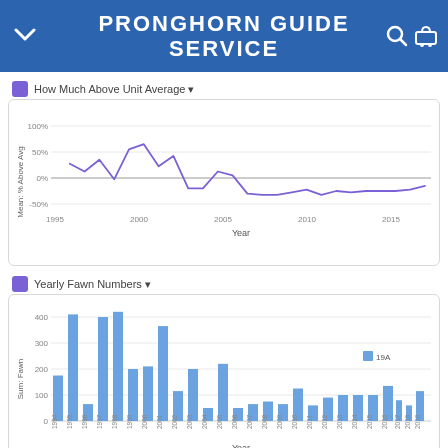PRONGHORN GUIDE SERVICE
How Much Above Unit Average
[Figure (line-chart): How Much Above Unit Average]
Yearly Fawn Numbers
[Figure (bar-chart): Yearly Fawn Numbers]